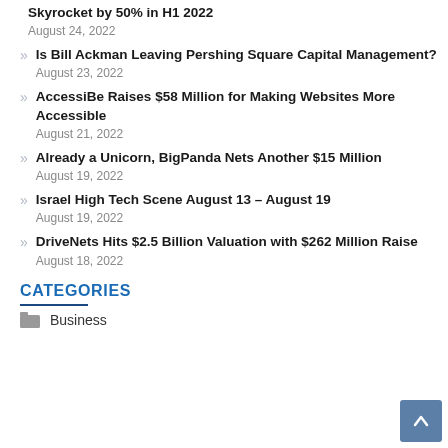Skyrocket by 50% in H1 2022
August 24, 2022
Is Bill Ackman Leaving Pershing Square Capital Management?
August 23, 2022
AccessiBe Raises $58 Million for Making Websites More Accessible
August 21, 2022
Already a Unicorn, BigPanda Nets Another $15 Million
August 19, 2022
Israel High Tech Scene August 13 – August 19
August 19, 2022
DriveNets Hits $2.5 Billion Valuation with $262 Million Raise
August 18, 2022
CATEGORIES
Business